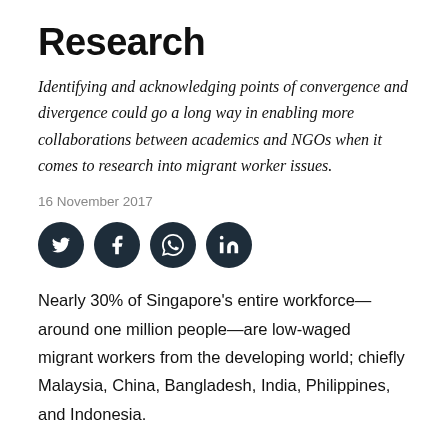Research
Identifying and acknowledging points of convergence and divergence could go a long way in enabling more collaborations between academics and NGOs when it comes to research into migrant worker issues.
16 November 2017
[Figure (infographic): Four circular dark social media share buttons: Twitter, Facebook, WhatsApp, LinkedIn]
Nearly 30% of Singapore’s entire workforce—around one million people—are low-waged migrant workers from the developing world; chiefly Malaysia, China, Bangladesh, India, Philippines, and Indonesia.